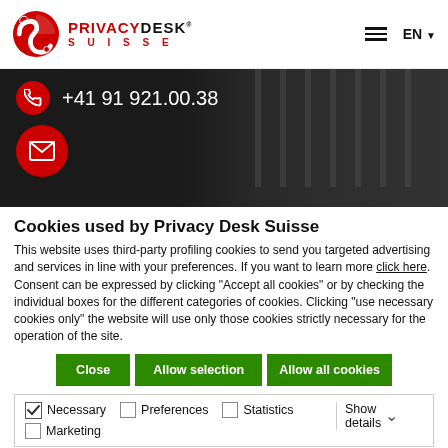[Figure (logo): PrivacyDesk Suisse logo with red circular icon and brand name]
[Figure (photo): Dark hero banner showing phone number +41 91 921.00.38 and email icon on dark background]
Cookies used by Privacy Desk Suisse
This website uses third-party profiling cookies to send you targeted advertising and services in line with your preferences. If you want to learn more click here. Consent can be expressed by clicking "Accept all cookies" or by checking the individual boxes for the different categories of cookies. Clicking "use necessary cookies only" the website will use only those cookies strictly necessary for the operation of the site.
Close | Allow selection | Allow all cookies
Necessary | Preferences | Statistics | Marketing | Show details